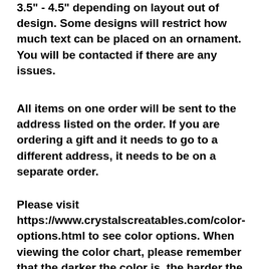3.5" - 4.5" depending on layout out of design. Some designs will restrict how much text can be placed on an ornament. You will be contacted if there are any issues.
All items on one order will be sent to the address listed on the order. If you are ordering a gift and it needs to go to a different address, it needs to be on a separate order.
Please visit https://www.crystalscreatables.com/color-options.html to see color options. When viewing the color chart, please remember that the darker the color is, the harder the engraving will be to read. The color options were taking with